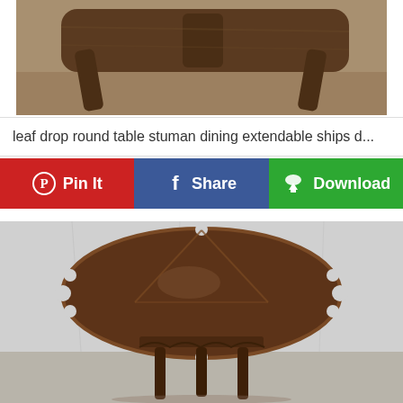[Figure (photo): Top portion of a drop-leaf round wooden table shown upside down or at an angle, revealing the underside legs and base on a carpet floor.]
leaf drop round table stuman dining extendable ships d...
[Figure (infographic): Social sharing button bar with three buttons: red Pinterest 'Pin It' button, blue Facebook 'Share' button, and green 'Download' button.]
[Figure (photo): Antique dark-wood drop-leaf round dining table photographed from above and slightly in front, showing the full oval tabletop with decorative scalloped edges, and four slender legs visible below, against a white/grey backdrop.]